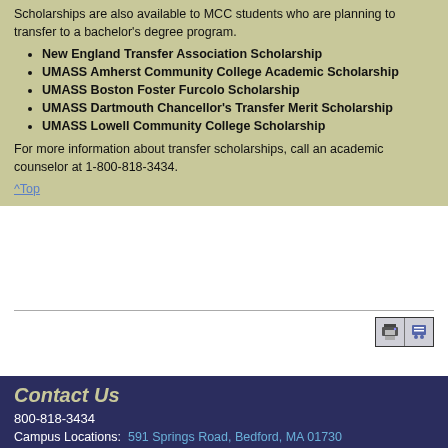Scholarships are also available to MCC students who are planning to transfer to a bachelor's degree program.
New England Transfer Association Scholarship
UMASS Amherst Community College Academic Scholarship
UMASS Boston Foster Furcolo Scholarship
UMASS Dartmouth Chancellor's Transfer Merit Scholarship
UMASS Lowell Community College Scholarship
For more information about transfer scholarships, call an academic counselor at 1-800-818-3434.
^Top
[Figure (other): Print and accessibility icons]
Contact Us
800-818-3434
Campus Locations: 591 Springs Road, Bedford, MA 01730